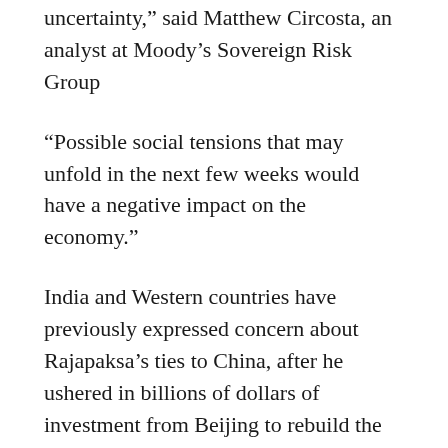uncertainty,” said Matthew Circosta, an analyst at Moody’s Sovereign Risk Group
“Possible social tensions that may unfold in the next few weeks would have a negative impact on the economy.”
India and Western countries have previously expressed concern about Rajapaksa’s ties to China, after he ushered in billions of dollars of investment from Beijing to rebuild the country following the end of a 26-year war against ethnic Tamil separatists in 2009.
That investment has since put Sri Lanka deep in debt and forced it to hand over control of a strategic port to